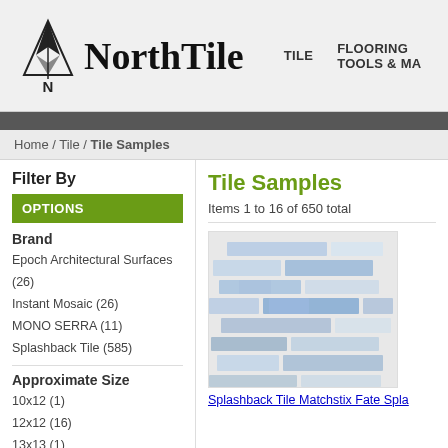NorthTile | TILE | FLOORING TOOLS & MA...
Home / Tile / Tile Samples
Filter By
OPTIONS
Brand
Epoch Architectural Surfaces (26)
Instant Mosaic (26)
MONO SERRA (11)
Splashback Tile (585)
Approximate Size
10x12 (1)
12x12 (16)
13x13 (1)
2x12 (2)
2x2 (3)
2x6 (5)
2x8 (23)
Tile Samples
Items 1 to 16 of 650 total
[Figure (photo): Splashback Tile Matchstix Fate - glass mosaic tile in blue, grey and white horizontal staggered strips]
Splashback Tile Matchstix Fate Spla...